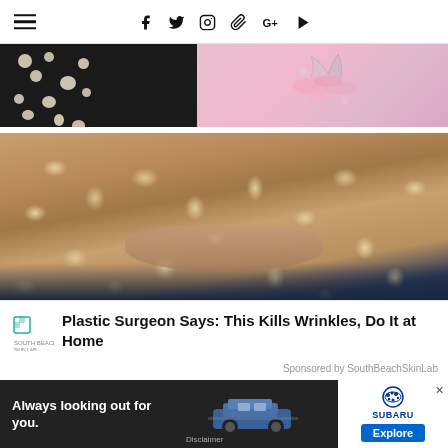≡  f  Twitter  Instagram  Pinterest  G+  YouTube
[Figure (photo): Partial view of black polka-dot fabric on left and pink floral accessories on right]
[Figure (photo): Close-up of a person's face covered with an oatmeal facial scrub mask, lips visible]
Plastic Surgeon Says: This Kills Wrinkles, Do It at Home
Sponsored by SouthBeachSkinLab
[Figure (screenshot): Subaru advertisement: 'Always looking out for you.' with a blue car image and Explore button]